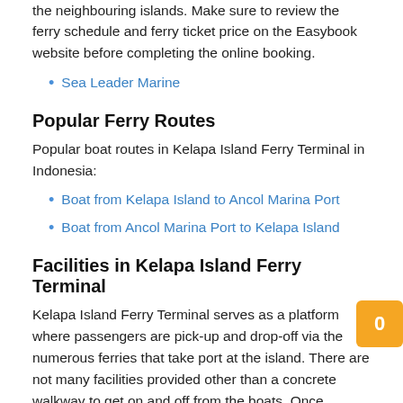the neighbouring islands. Make sure to review the ferry schedule and ferry ticket price on the Easybook website before completing the online booking.
Sea Leader Marine
Popular Ferry Routes
Popular boat routes in Kelapa Island Ferry Terminal in Indonesia:
Boat from Kelapa Island to Ancol Marina Port
Boat from Ancol Marina Port to Kelapa Island
Facilities in Kelapa Island Ferry Terminal
Kelapa Island Ferry Terminal serves as a platform where passengers are pick-up and drop-off via the numerous ferries that take port at the island. There are not many facilities provided other than a concrete walkway to get on and off from the boats. Once arrived, travellers will have to take a little walk to get to the local restaurants, souvenir shops and a wide range of accommodations ranging from luxurious resorts to hostels.
Book a Ferry Ticket to Kelapa Island on Easybook